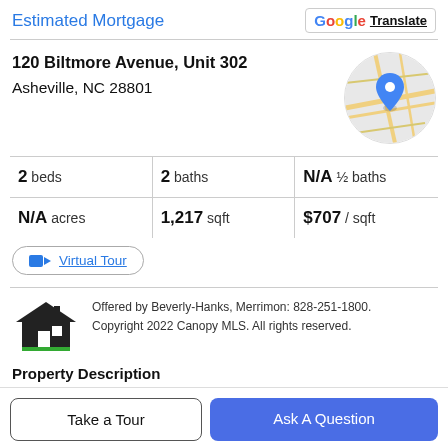Estimated Mortgage
G Translate
120 Biltmore Avenue, Unit 302
Asheville, NC 28801
[Figure (map): Circular Google Maps thumbnail showing street map of Asheville NC area with blue location pin]
| 2 beds | 2 baths | N/A ½ baths |
| N/A acres | 1,217 sqft | $707 / sqft |
Virtual Tour
Offered by Beverly-Hanks, Merrimon: 828-251-1800. Copyright 2022 Canopy MLS. All rights reserved.
Property Description
Take a Tour
Ask A Question
Asheville. The MK on Biltmore is a world class...